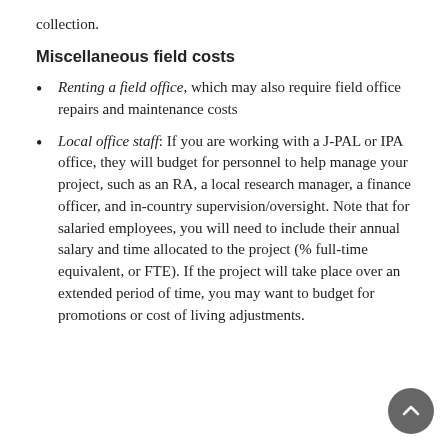collection.
Miscellaneous field costs
Renting a field office, which may also require field office repairs and maintenance costs
Local office staff: If you are working with a J-PAL or IPA office, they will budget for personnel to help manage your project, such as an RA, a local research manager, a finance officer, and in-country supervision/oversight. Note that for salaried employees, you will need to include their annual salary and time allocated to the project (% full-time equivalent, or FTE). If the project will take place over an extended period of time, you may want to budget for promotions or cost of living adjustments.